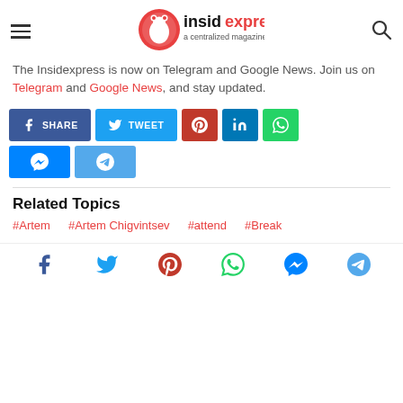insidexpress — a centralized magazine
The Insidexpress is now on Telegram and Google News. Join us on Telegram and Google News, and stay updated.
[Figure (infographic): Social share buttons: SHARE (Facebook), TWEET (Twitter), Pinterest, LinkedIn, WhatsApp, Messenger, Telegram]
Related Topics
#Artem
#Artem Chigvintsev
#attend
#Break
[Figure (infographic): Footer social media icons: Facebook, Twitter, Pinterest, WhatsApp, Messenger, Telegram]